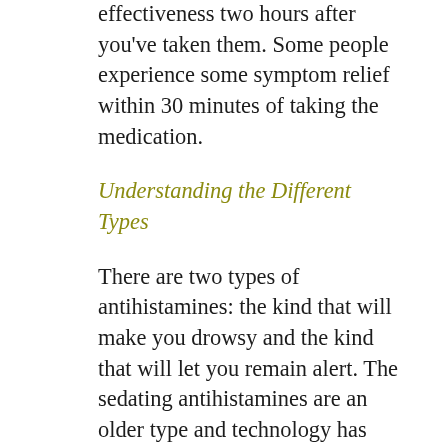effectiveness two hours after you've taken them. Some people experience some symptom relief within 30 minutes of taking the medication.
Understanding the Different Types
There are two types of antihistamines: the kind that will make you drowsy and the kind that will let you remain alert. The sedating antihistamines are an older type and technology has advanced to allow you to experience allergy symptom relief